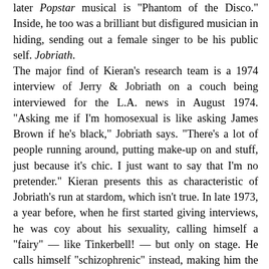later Popstar musical is "Phantom of the Disco." Inside, he too was a brilliant but disfigured musician in hiding, sending out a female singer to be his public self. Jobriath. The major find of Kieran's research team is a 1974 interview of Jerry & Jobriath on a couch being interviewed for the L.A. news in August 1974. "Asking me if I'm homosexual is like asking James Brown if he's black," Jobriath says. "There's a lot of people running around, putting make-up on and stuff, just because it's chic. I just want to say that I'm no pretender." Kieran presents this as characteristic of Jobriath's run at stardom, which isn't true. In late 1973, a year before, when he first started giving interviews, he was coy about his sexuality, calling himself a "fairy" — like Tinkerbell! — but only on stage. He calls himself "schizophrenic" instead, making him the first openly schizophrenic pop star? Never calling himself 'gay' or 'homosexual'. And did, it seems, only as his act was crashing & burning, in a clip that may never have aired. The poignancy is that Brandt will dump him within hours of the taping as it becomes evident the act is a flop. Drugged on angel dust & cocaine, skin & body in revolt, Jobriath was in a totally detached